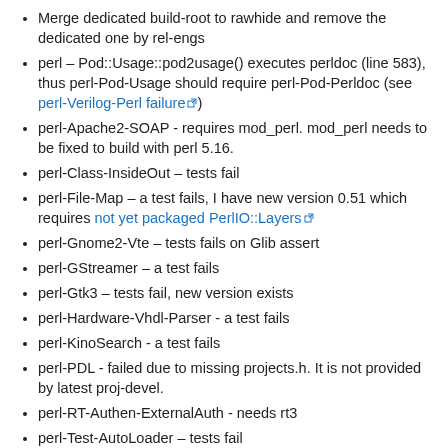Merge dedicated build-root to rawhide and remove the dedicated one by rel-engs
perl – Pod::Usage::pod2usage() executes perldoc (line 583), thus perl-Pod-Usage should require perl-Pod-Perldoc (see perl-Verilog-Perl failure)
perl-Apache2-SOAP - requires mod_perl. mod_perl needs to be fixed to build with perl 5.16.
perl-Class-InsideOut – tests fail
perl-File-Map – a test fails, I have new version 0.51 which requires not yet packaged PerlIO::Layers
perl-Gnome2-Vte – tests fails on Glib assert
perl-GStreamer – a test fails
perl-Gtk3 – tests fail, new version exists
perl-Hardware-Vhdl-Parser - a test fails
perl-KinoSearch - a test fails
perl-PDL - failed due to missing projects.h. It is not provided by latest proj-devel.
perl-RT-Authen-ExternalAuth - needs rt3
perl-Test-AutoLoader – tests fail
perl-Test-Unit-Runner-Xml - a test fails